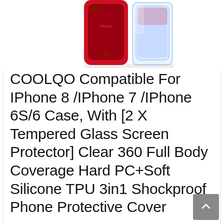[Figure (photo): Product photo showing a red iPhone case and a clear tempered glass screen protector side by side, partially cropped at top]
COOLQO Compatible For IPhone 8 /IPhone 7 /IPhone 6S/6 Case, With [2 X Tempered Glass Screen Protector] Clear 360 Full Body Coverage Hard PC+Soft Silicone TPU 3in1 Shockproof Phone Protective Cover